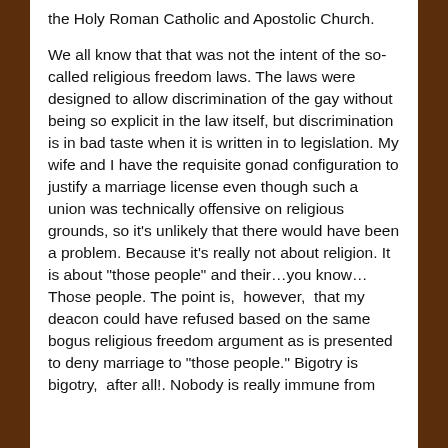the Holy Roman Catholic and Apostolic Church.

We all know that that was not the intent of the so-called religious freedom laws. The laws were designed to allow discrimination of the gay without being so explicit in the law itself, but discrimination is in bad taste when it is written in to legislation. My wife and I have the requisite gonad configuration to justify a marriage license even though such a union was technically offensive on religious grounds, so it’s unlikely that there would have been a problem. Because it’s really not about religion. It is about “those people” and their…you know…Those people. The point is,  however,  that my deacon could have refused based on the same bogus religious freedom argument as is presented to deny marriage to “those people.” Bigotry is bigotry,  after all!. Nobody is really immune from